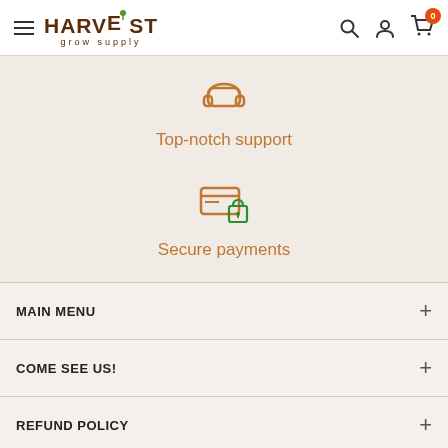Harvest Grow Supply — navigation header with logo, search, account, and cart icons
[Figure (illustration): Support desk icon (rounded rectangle outline) in brown/orange color]
Top-notch support
[Figure (illustration): Secure payment icon: credit card with green lock overlay in brown/orange color]
Secure payments
MAIN MENU +
COME SEE US! +
REFUND POLICY +